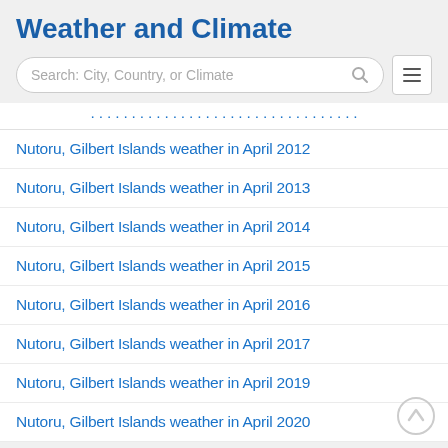Weather and Climate
[Figure (screenshot): Search bar with placeholder text 'Search: City, Country, or Climate' and a hamburger menu icon]
...
Nutoru, Gilbert Islands weather in April 2012
Nutoru, Gilbert Islands weather in April 2013
Nutoru, Gilbert Islands weather in April 2014
Nutoru, Gilbert Islands weather in April 2015
Nutoru, Gilbert Islands weather in April 2016
Nutoru, Gilbert Islands weather in April 2017
Nutoru, Gilbert Islands weather in April 2019
Nutoru, Gilbert Islands weather in April 2020